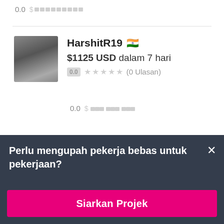0.0  $ [redacted bars]
HarshitR19 🇮🇳
$1125 USD dalam 7 hari
0.0 ★★★★★ (0 Ulasan)
0.0  $ [redacted bars]
Perlu mengupah pekerja bebas untuk pekerjaan?
Siarkan Projek